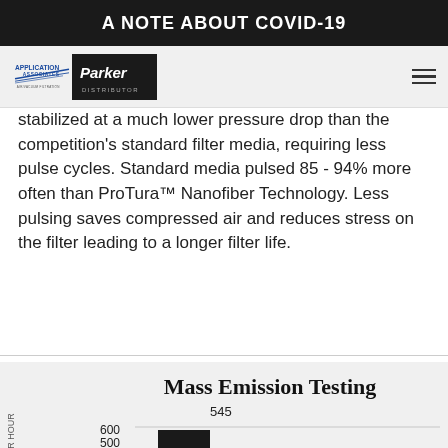A NOTE ABOUT COVID-19
[Figure (logo): Application Associates Parker Distributor logo]
stabilized at a much lower pressure drop than the competition's standard filter media, requiring less pulse cycles. Standard media pulsed 85 - 94% more often than ProTura™ Nanofiber Technology. Less pulsing saves compressed air and reduces stress on the filter leading to a longer filter life.
[Figure (bar-chart): Mass Emission Testing]